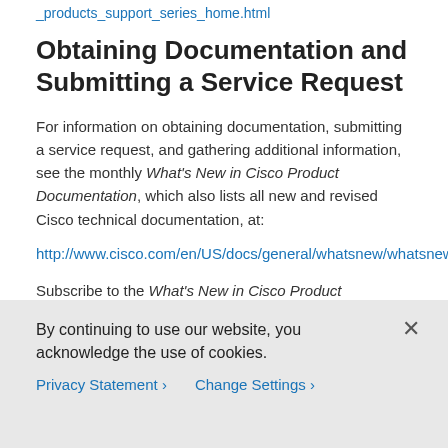_products_support_series_home.html
Obtaining Documentation and Submitting a Service Request
For information on obtaining documentation, submitting a service request, and gathering additional information, see the monthly What's New in Cisco Product Documentation, which also lists all new and revised Cisco technical documentation, at:
http://www.cisco.com/en/US/docs/general/whatsnew/whatsnew.html
Subscribe to the What's New in Cisco Product Documentation as a Really Simple Syndication (RSS) feed and set content to be delivered directly to your desktop
By continuing to use our website, you acknowledge the use of cookies.
Privacy Statement > Change Settings >